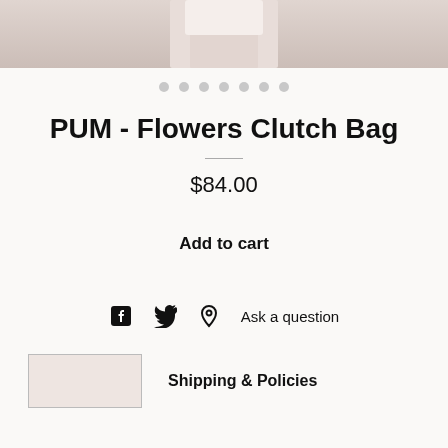[Figure (photo): Product photo of PUM Flowers Clutch Bag, showing bottom portion of model holding or wearing the bag, soft pinkish-grey gradient background]
• • • • • • •
PUM - Flowers Clutch Bag
$84.00
Add to cart
Ask a question
[Figure (photo): Small thumbnail image of the clutch bag product]
Shipping & Policies